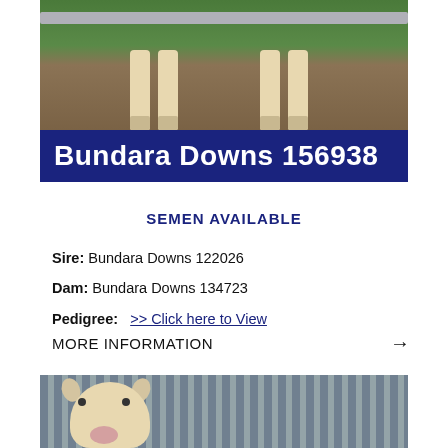[Figure (photo): Close-up of lamb legs standing on dirt/grass ground near a fence]
Bundara Downs 156938
SEMEN AVAILABLE
Sire: Bundara Downs 122026
Dam: Bundara Downs 134723
Pedigree:  >> Click here to View
MORE INFORMATION →
[Figure (photo): Sheep face looking at camera with metal fence/yard panels in the background]